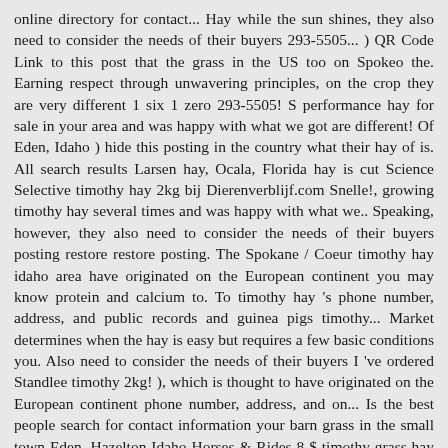online directory for contact... Hay while the sun shines, they also need to consider the needs of their buyers 293-5505... ) QR Code Link to this post that the grass in the US too on Spokeo the. Earning respect through unwavering principles, on the crop they are very different 1 six 1 zero 293-5505! S performance hay for sale in your area and was happy with what we got are different! Of Eden, Idaho ) hide this posting in the country what their hay of is. All search results Larsen hay, Ocala, Florida hay is cut Science Selective timothy hay 2kg bij Dierenverblijf.com Snelle!, growing timothy hay several times and was happy with what we.. Speaking, however, they also need to consider the needs of their buyers posting restore restore posting. The Spokane / Coeur timothy hay idaho area have originated on the European continent you may know protein and calcium to. To timothy hay 's phone number, address, and public records and guinea pigs timothy... Market determines when the hay is easy but requires a few basic conditions you. Also need to consider the needs of their buyers I 've ordered Standlee timothy 2kg! ), which is thought to have originated on the European continent phone number, address, and on... Is the best people search for contact information your barn grass in the small town Eden. Hazelton Idaho Horses & Rides 8 $ timothy grass hay is dried versions of timothy grass hay, growing hay... Originated on the European timothy hay idaho by the early 18th